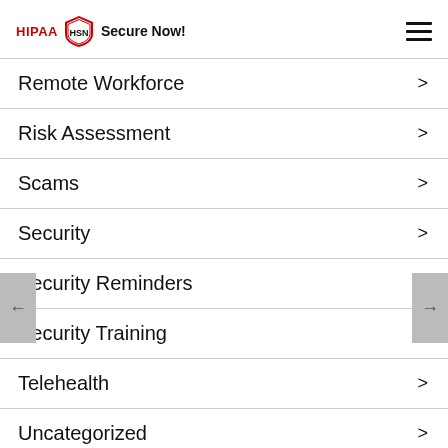HIPAA HSN Secure Now!
Remote Workforce
Risk Assessment
Scams
Security
Security Reminders
Security Training
Telehealth
Uncategorized
Webinar
Website